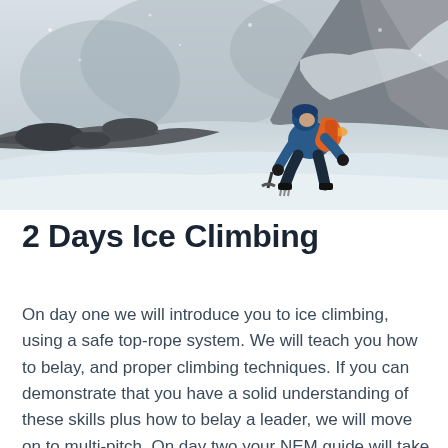[Figure (photo): A climber in blue jacket and orange backpack wearing crampons and using an ice axe, kneeling on a snow and rock covered mountainside in foggy/snowy winter conditions.]
2 Days Ice Climbing
On day one we will introduce you to ice climbing, using a safe top-rope system. We will teach you how to belay, and proper climbing techniques. If you can demonstrate that you have a solid understanding of these skills plus how to belay a leader, we will move on to multi-pitch. On day two your NEM guide will take you on an ice route that best fits your skills and comfort level. This